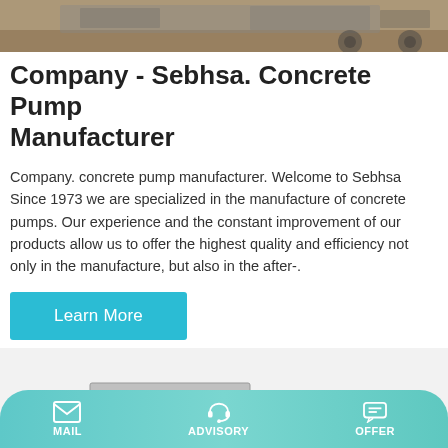[Figure (photo): Top banner photo of construction equipment/concrete pump machinery on sandy ground]
Company - Sebhsa. Concrete Pump Manufacturer
Company. concrete pump manufacturer. Welcome to Sebhsa Since 1973 we are specialized in the manufacture of concrete pumps. Our experience and the constant improvement of our products allow us to offer the highest quality and efficiency not only in the manufacture, but also in the after-.
Learn More
[Figure (photo): Talenet branded concrete mixing machine - white and blue industrial mixer with aggregate batching system]
MAIL  ADVISORY  OFFER